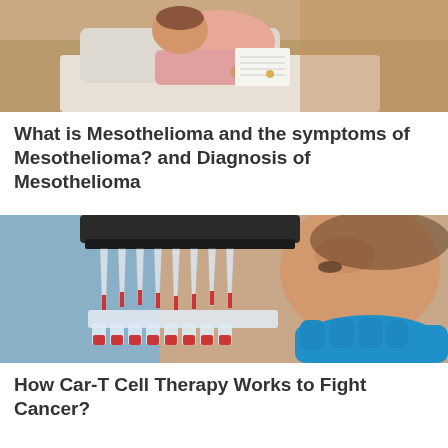[Figure (photo): Patient in hospital bed, wearing pink clothing, holding a document/paper, resting]
What is Mesothelioma and the symptoms of Mesothelioma? and Diagnosis of Mesothelioma
[Figure (photo): Laboratory researcher looking at a multichannel pipette with red liquid samples in test tube strips, wearing blue gloves]
How Car-T Cell Therapy Works to Fight Cancer?